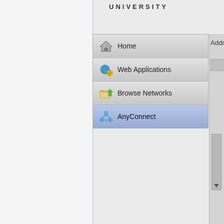[Figure (screenshot): Screenshot of a Cisco AnyConnect VPN web portal navigation menu showing Home, Web Applications, Browse Networks, and AnyConnect menu items with icons. The AnyConnect item is highlighted/selected in blue. A partial 'Address' label and scrollbar are visible on the right side. A university logo text 'UNIVERSITY' appears at the top.]
UNIVERSITY
Home
Web Applications
Browse Networks
AnyConnect
Address